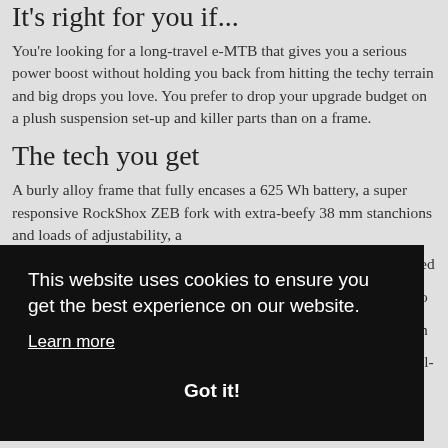It's right for you if...
You're looking for a long-travel e-MTB that gives you a serious power boost without holding you back from hitting the techy terrain and big drops you love. You prefer to drop your upgrade budget on a plush suspension set-up and killer parts than on a frame.
The tech you get
A burly alloy frame that fully encases a 625 Wh battery, a super responsive RockShox ZEB fork with extra-beefy 38 mm stanchions and loads of adjustability, a
This website uses cookies to ensure you get the best experience on our website.
Learn more
Got it!
The final word